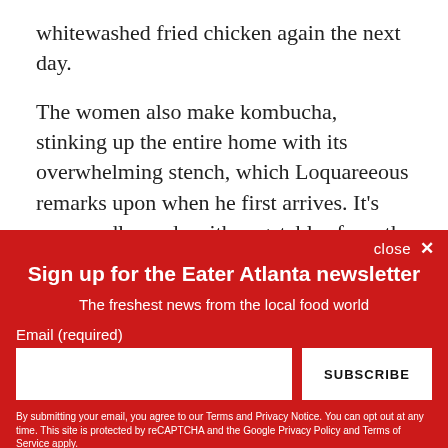whitewashed fried chicken again the next day.
The women also make kombucha, stinking up the entire home with its overwhelming stench, which Loquareeous remarks upon when he first arrives. It’s supposedly made with vegetables from the family’s back garden, which the children tend as the women sit and watch. At one point, a hungry Loquareeous is asked to sing a song while he works
close ×
Sign up for the Eater Atlanta newsletter
The freshest news from the local food world
Email (required)
SUBSCRIBE
By submitting your email, you agree to our Terms and Privacy Notice. You can opt out at any time. This site is protected by reCAPTCHA and the Google Privacy Policy and Terms of Service apply.